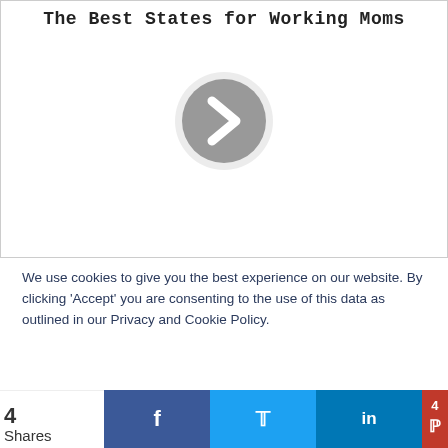The Best States for Working Moms
[Figure (other): Gray circular play button with right-pointing chevron arrow, on a light background]
We use cookies to give you the best experience on our website. By clicking 'Accept' you are consenting to the use of this data as outlined in our Privacy and Cookie Policy.
Accept
4 Shares
[Figure (infographic): Social sharing bar with Facebook, Twitter, LinkedIn, and Pinterest buttons. Pinterest shows count of 4.]